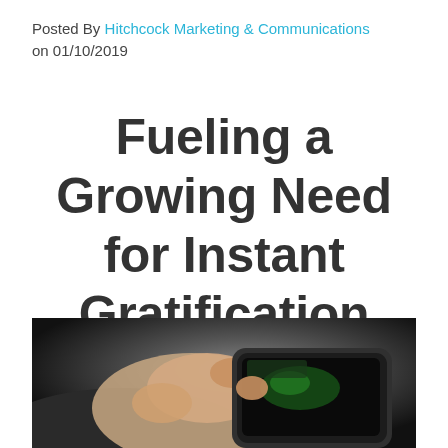Posted By Hitchcock Marketing & Communications on 01/10/2019
Fueling a Growing Need for Instant Gratification
[Figure (photo): Close-up photo of a hand in a business suit holding a smartphone, touching the screen, with a dark background.]